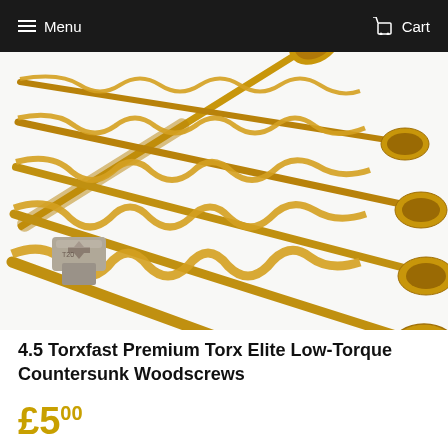Menu   Cart
[Figure (photo): Five gold/yellow zinc-plated Torx countersunk woodscrews arranged diagonally from lower-left to upper-right, with a silver Torx screwdriver bit in the lower-left corner.]
4.5 Torxfast Premium Torx Elite Low-Torque Countersunk Woodscrews
£5.00